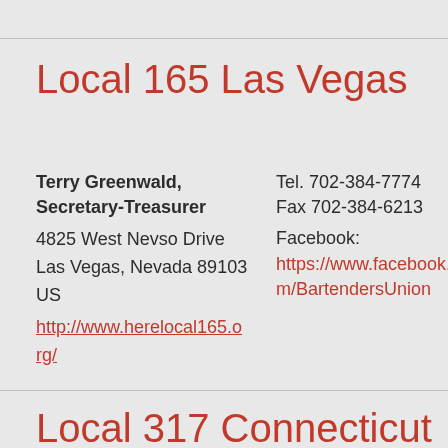Local 165 Las Vegas
Terry Greenwald, Secretary-Treasurer
4825 West Nevso Drive
Las Vegas, Nevada 89103
US
http://www.herelocal165.org/
Tel. 702-384-7774
Fax 702-384-6213
Facebook:
https://www.facebook.com/BartendersUnion
Local 317 Connecticut